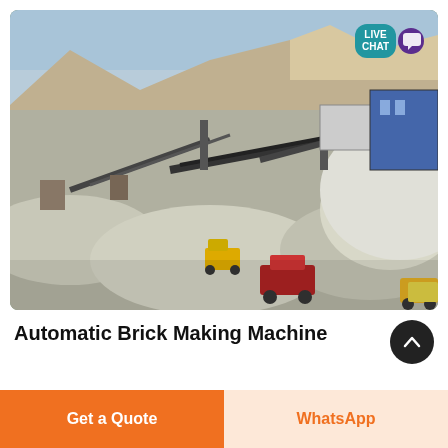[Figure (photo): Aerial view of a large quarry/mining site with conveyor belts, machinery, gravel piles, trucks, and industrial equipment against a mountainous backdrop. A 'LIVE CHAT' bubble with a speech icon is overlaid in the top-right corner.]
Automatic Brick Making Machine
Get a Quote
WhatsApp